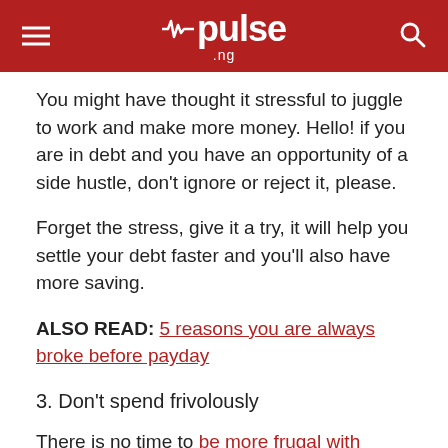pulse.ng
You might have thought it stressful to juggle to work and make more money. Hello! if you are in debt and you have an opportunity of a side hustle, don't ignore or reject it, please.
Forget the stress, give it a try, it will help you settle your debt faster and you'll also have more saving.
ALSO READ: 5 reasons you are always broke before payday
3. Don't spend frivolously
There is no time to be more frugal with spending than when you are in debt.